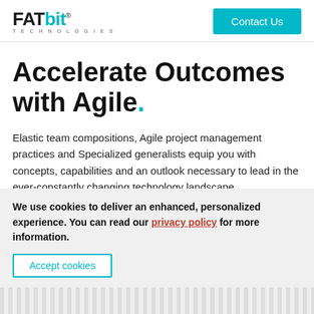FATbit TECHNOLOGIES | Contact Us
Accelerate Outcomes with Agile.
Elastic team compositions, Agile project management practices and Specialized generalists equip you with concepts, capabilities and an outlook necessary to lead in the ever-constantly changing technology landscape
We use cookies to deliver an enhanced, personalized experience. You can read our privacy policy for more information.
Accept cookies